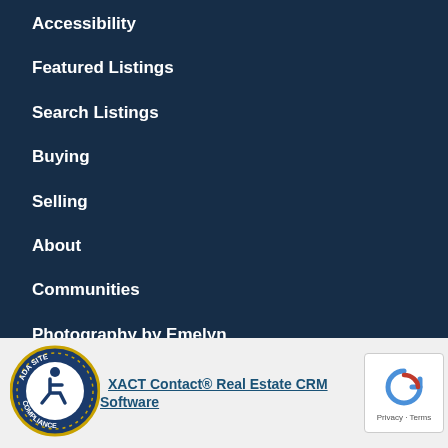Accessibility
Featured Listings
Search Listings
Buying
Selling
About
Communities
Photography by Emelyn Morris-Sayre
[Figure (logo): ADA Site Compliance badge with wheelchair accessibility icon and gold border]
XACT Contact® Real Estate CRM Software
[Figure (logo): reCAPTCHA badge showing Privacy and Terms]